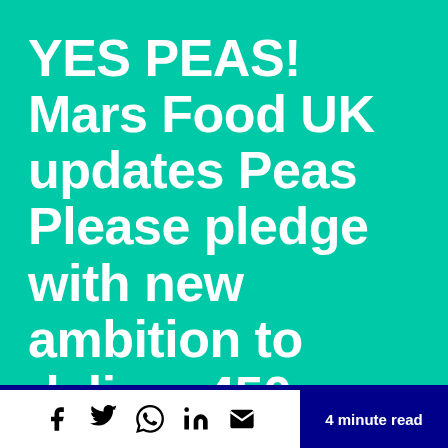YES PEAS! Mars Food UK updates Peas Please pledge with new ambition to deliver 450m...
[Figure (infographic): Social media share icons: Facebook (f), Twitter (bird), WhatsApp, LinkedIn (in), Email (envelope)]
4 minute read